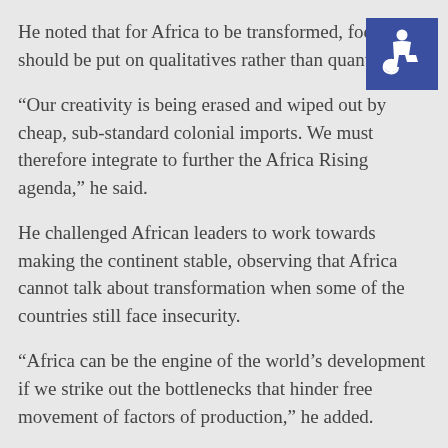He noted that for Africa to be transformed, focus should be put on qualitatives rather than quantitatives.
“Our creativity is being erased and wiped out by cheap, sub-standard colonial imports. We must therefore integrate to further the Africa Rising agenda,” he said.
He challenged African leaders to work towards making the continent stable, observing that Africa cannot talk about transformation when some of the countries still face insecurity.
“Africa can be the engine of the world’s development if we strike out the bottlenecks that hinder free movement of factors of production,” he added.